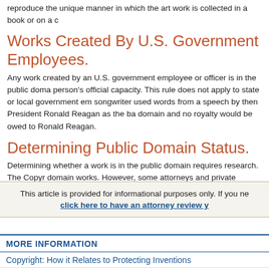reproduce the unique manner in which the art work is collected in a book or on a c
Works Created By U.S. Government Employees.
Any work created by an U.S. government employee or officer is in the public doma person's official capacity. This rule does not apply to state or local government em songwriter used words from a speech by then President Ronald Reagan as the ba domain and no royalty would be owed to Ronald Reagan.
Determining Public Domain Status.
Determining whether a work is in the public domain requires research. The Copyr domain works. However, some attorneys and private companies can perform sea
This article is provided for informational purposes only. If you ne
click here to have an attorney review y
MORE INFORMATION
Copyright: How it Relates to Protecting Inventions
Copyrights: Works Made for Hire
Copyright Duration